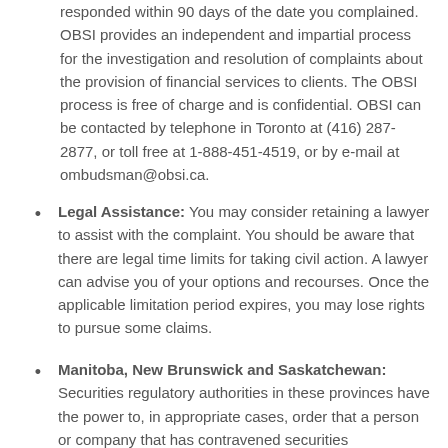responded within 90 days of the date you complained. OBSI provides an independent and impartial process for the investigation and resolution of complaints about the provision of financial services to clients. The OBSI process is free of charge and is confidential. OBSI can be contacted by telephone in Toronto at (416) 287-2877, or toll free at 1-888-451-4519, or by e-mail at ombudsman@obsi.ca.
Legal Assistance: You may consider retaining a lawyer to assist with the complaint. You should be aware that there are legal time limits for taking civil action. A lawyer can advise you of your options and recourses. Once the applicable limitation period expires, you may lose rights to pursue some claims.
Manitoba, New Brunswick and Saskatchewan: Securities regulatory authorities in these provinces have the power to, in appropriate cases, order that a person or company that has contravened securities